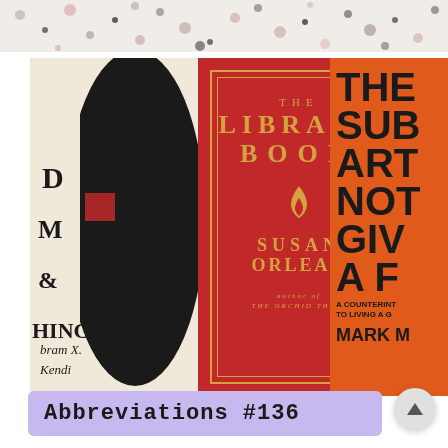[Figure (photo): Top decorative banner with colorful speckled/terrazzo pattern in pink, black, and grey dots on white/cream background]
[Figure (photo): Three book covers side by side: Left - dark silhouette book by Ibram X. Kendi with text fragments visible (D, M, E, HING); Center - 'The Library Book' by Susan Orlean, author of The Orchid Thief, red cover with gold text and flame symbol; Right - partially visible orange book with large black text (THE, SUB, ART, NOT, GIV, A F), subtitle 'A COUNTERINT / TO LIVING A G', author 'MARK M']
Abbreviations #136